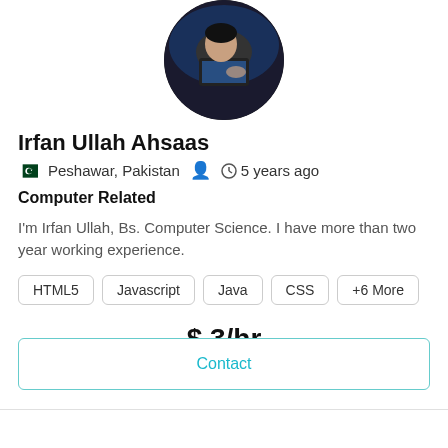[Figure (photo): Circular profile photo of a person using a laptop, dark background]
Irfan Ullah Ahsaas
🇵🇰 Peshawar, Pakistan  👤  🕐 5 years ago
Computer Related
I'm Irfan Ullah, Bs. Computer Science. I have more than two year working experience.
HTML5
Javascript
Java
CSS
+6 More
$ 3/hr
Contact